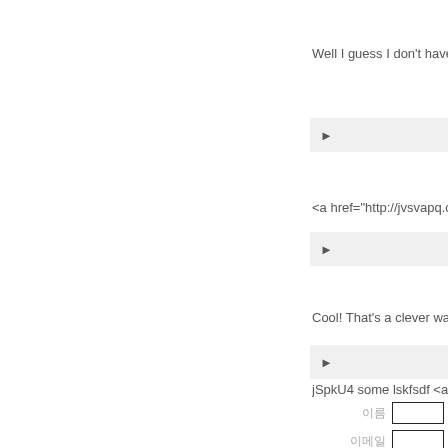Well I guess I don't have to sp
►
<a href="http://jvsvapq.com">
►
Cool! That's a clever way of lo
►
jSpkU4 some lskfsdf <a href=
| 이름 |  | 이메일 |  |
| --- | --- | --- | --- |
| 이름 |  | 이메일 |  |
| E-mail |  |